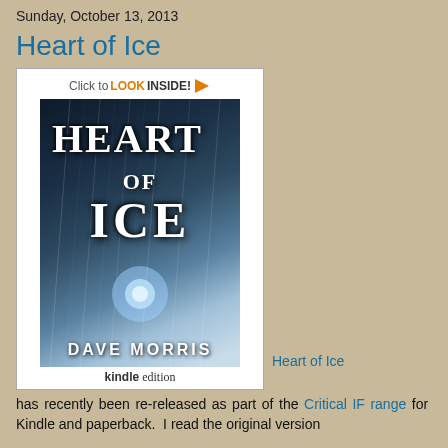Sunday, October 13, 2013
Heart of Ice
[Figure (photo): Book cover image for 'Heart of Ice' by Dave Morris, showing a figure in a blizzard with glowing light, dark fantasy art. Amazon 'Click to LOOK INSIDE!' badge. Kindle edition tag at bottom.]
Heart of Ice has recently been re-released as part of the Critical IF range for Kindle and paperback.  I read the original version